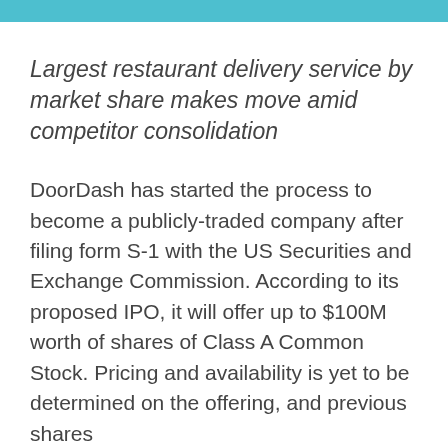Largest restaurant delivery service by market share makes move amid competitor consolidation
DoorDash has started the process to become a publicly-traded company after filing form S-1 with the US Securities and Exchange Commission. According to its proposed IPO, it will offer up to $100M worth of shares of Class A Common Stock. Pricing and availability is yet to be determined on the offering, and previous shares